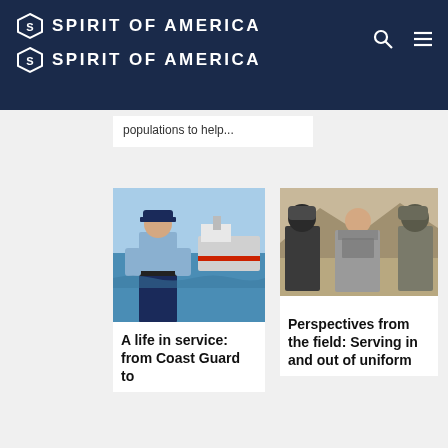SPIRIT OF AMERICA (logo x2)
populations to help...
[Figure (photo): Female US Coast Guard officer in light blue uniform standing in front of a Coast Guard vessel on water]
A life in service: from Coast Guard to
[Figure (photo): Three people in desert terrain, two wearing military helmets and tactical gear, one civilian woman in the middle]
Perspectives from the field: Serving in and out of uniform